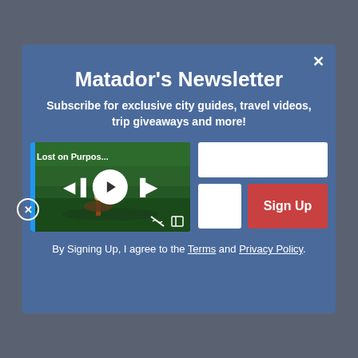Matador's Newsletter
Subscribe for exclusive city guides, travel videos, trip giveaways and more!
[Figure (screenshot): Video player thumbnail showing a person kayaking on a forest lake, with play controls and label 'Lost on Purpos...']
By Signing Up, I agree to the Terms and Privacy Policy.